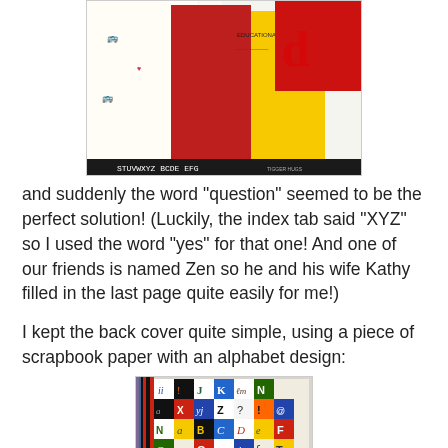[Figure (photo): Photo of scrapbook materials including school bus patterned paper, red paper, yellow paper with text, and alphabet border, arranged on a surface.]
and suddenly the word "question" seemed to be the perfect solution! (Luckily, the index tab said "XYZ" so I used the word "yes" for that one! And one of our friends is named Zen so he and his wife Kathy filled in the last page quite easily for me!)
I kept the back cover quite simple, using a piece of scrapbook paper with an alphabet design:
[Figure (photo): Photo of a scrapbook back cover with colorful alphabet design, showing letters, numbers, and symbols in various colors on a checkered pattern, with a striped red and black border on the left side.]